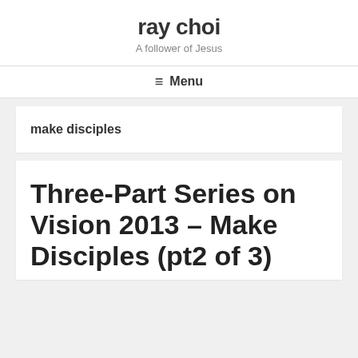ray choi
A follower of Jesus
≡ Menu
make disciples
Three-Part Series on Vision 2013 – Make Disciples (pt2 of 3)